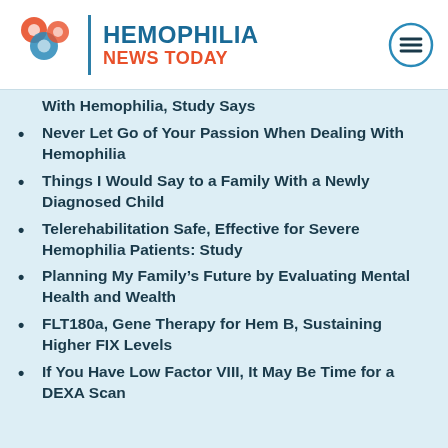HEMOPHILIA NEWS TODAY
With Hemophilia, Study Says
Never Let Go of Your Passion When Dealing With Hemophilia
Things I Would Say to a Family With a Newly Diagnosed Child
Telerehabilitation Safe, Effective for Severe Hemophilia Patients: Study
Planning My Family’s Future by Evaluating Mental Health and Wealth
FLT180a, Gene Therapy for Hem B, Sustaining Higher FIX Levels
If You Have Low Factor VIII, It May Be Time for a DEXA Scan